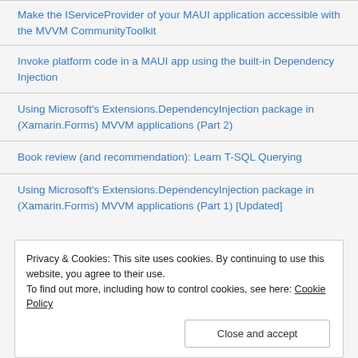Make the IServiceProvider of your MAUI application accessible with the MVVM CommunityToolkit
Invoke platform code in a MAUI app using the built-in Dependency Injection
Using Microsoft's Extensions.DependencyInjection package in (Xamarin.Forms) MVVM applications (Part 2)
Book review (and recommendation): Learn T-SQL Querying
Using Microsoft's Extensions.DependencyInjection package in (Xamarin.Forms) MVVM applications (Part 1) [Updated]
Privacy & Cookies: This site uses cookies. By continuing to use this website, you agree to their use.
To find out more, including how to control cookies, see here: Cookie Policy
Close and accept